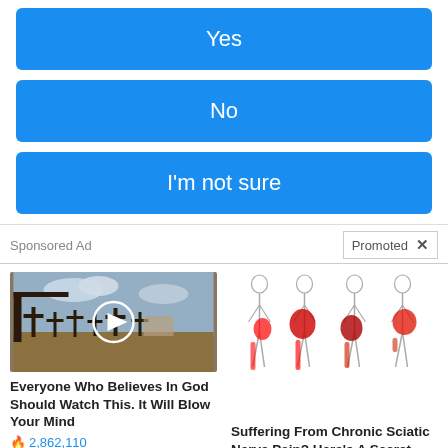Yes
No
I'm not sure
Sponsored Ad
Promoted  X
[Figure (photo): Thumbnail of a cemetery with crosses under cloudy sky, with a play button overlay]
Everyone Who Believes In God Should Watch This. It Will Blow Your Mind
2,862,110
[Figure (illustration): Medical illustration showing human body outlines with red areas highlighting sciatic nerve pain locations]
Suffering From Chronic Sciatic Nerve Pain? Here's A Secret You Need To Know
95,051